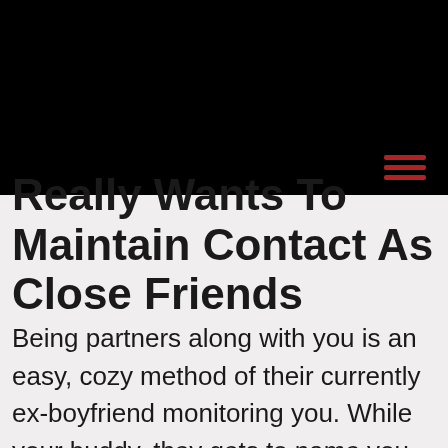Really Wants To Maintain Contact As Close Friends
Being partners along with you is an easy, cozy method of their currently ex-boyfriend monitoring you. While your buddy, they gets to name you up and inquire how the situation is. He's privy to any newer information regarding your overall lovelife. He also gets the continued friendship having we around that he liked if